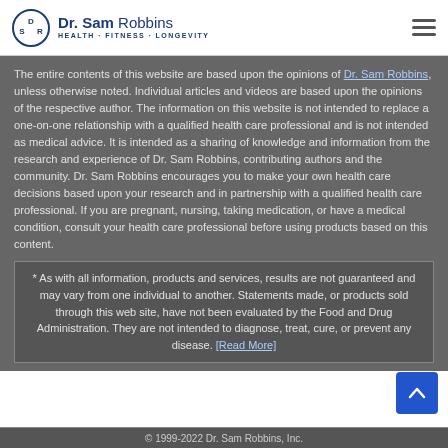Dr. Sam Robbins – Health · Fitness · Longevity
The entire contents of this website are based upon the opinions of Dr. Sam Robbins, unless otherwise noted. Individual articles and videos are based upon the opinions of the respective author. The information on this website is not intended to replace a one-on-one relationship with a qualified health care professional and is not intended as medical advice. It is intended as a sharing of knowledge and information from the research and experience of Dr. Sam Robbins, contributing authors and the community. Dr. Sam Robbins encourages you to make your own health care decisions based upon your research and in partnership with a qualified health care professional. If you are pregnant, nursing, taking medication, or have a medical condition, consult your health care professional before using products based on this content.
* As with all information, products and services, results are not guaranteed and may vary from one individual to another. Statements made, or products sold through this web site, have not been evaluated by the Food and Drug Administration. They are not intended to diagnose, treat, cure, or prevent any disease. [Read More]
© 1999-2022 Dr. Sam Robbins, Inc.